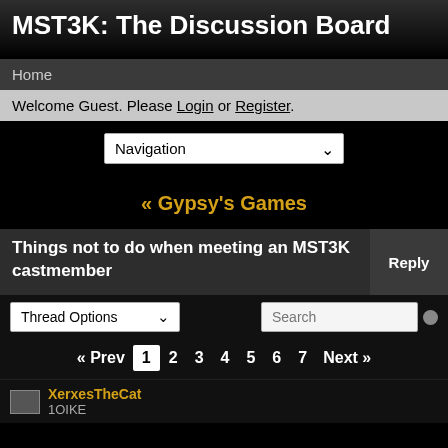MST3K: The Discussion Board
Home
Welcome Guest. Please Login or Register.
Navigation (dropdown)
« Gypsy's Games
Things not to do when meeting an MST3K castmember
Reply
Thread Options (dropdown) | Search
« Prev 1 2 3 4 5 6 7 Next »
XerxesTheCat
1OIKE